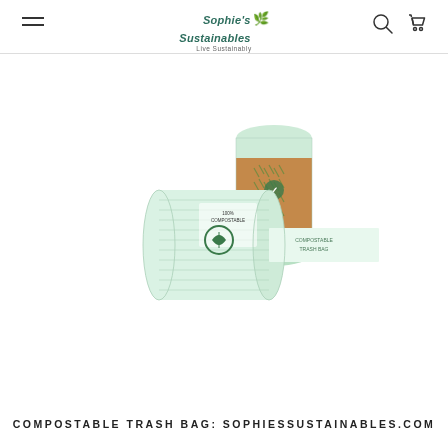Sophie's Sustainables - Live Sustainably
[Figure (photo): Two rolls of compostable trash bags. One roll is lying on its side with a bag partially unrolled showing a green leaf logo and text. A second upright roll is in the background with a brown kraft paper band around it featuring green leaf patterns.]
COMPOSTABLE TRASH BAG: SOPHIESSUSTAINABLES.COM